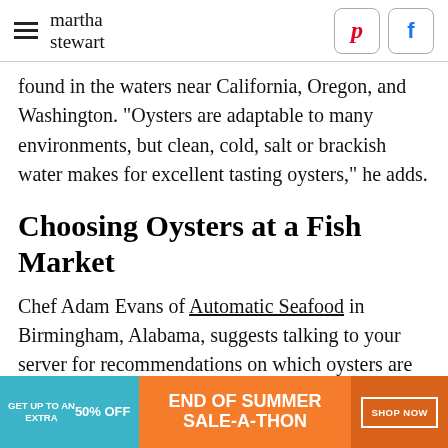martha stewart
found in the waters near California, Oregon, and Washington. "Oysters are adaptable to many environments, but clean, cold, salt or brackish water makes for excellent tasting oysters," he adds.
Choosing Oysters at a Fish Market
Chef Adam Evans of Automatic Seafood in Birmingham, Alabama, suggests talking to your server for recommendations on which oysters are likely the freshest or most suited to your palate... good...
[Figure (other): Advertisement banner: GET UP TO AN EXTRA 50% OFF / END OF SUMMER SALE-A-THON / SHOP NOW]